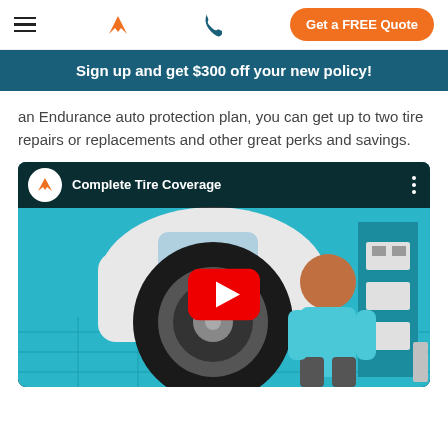Navigation bar with hamburger menu, Endurance logo, phone icon, and Get a FREE Quote button
Sign up and get $300 off your new policy!
an Endurance auto protection plan, you can get up to two tire repairs or replacements and other great perks and savings.
[Figure (screenshot): YouTube video thumbnail showing 'Complete Tire Coverage' with Endurance logo channel icon, animated illustration of a mechanic working on a car tire in a garage, with YouTube play button overlay]